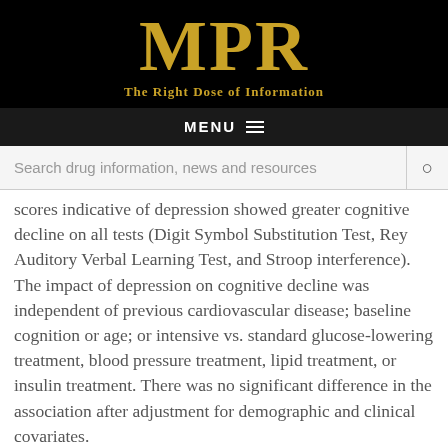MPR — The Right Dose of Information
scores indicative of depression showed greater cognitive decline on all tests (Digit Symbol Substitution Test, Rey Auditory Verbal Learning Test, and Stroop interference). The impact of depression on cognitive decline was independent of previous cardiovascular disease; baseline cognition or age; or intensive vs. standard glucose-lowering treatment, blood pressure treatment, lipid treatment, or insulin treatment. There was no significant difference in the association after adjustment for demographic and clinical covariates.
"Depression in patients with type 2 diabetes was associated